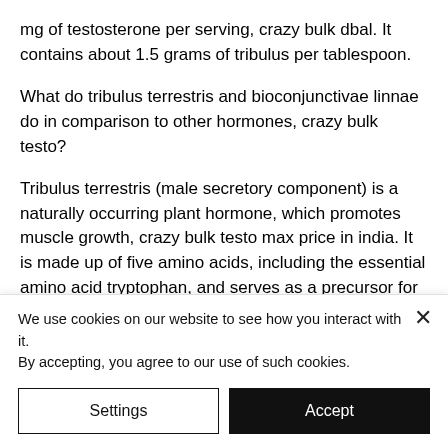mg of testosterone per serving, crazy bulk dbal. It contains about 1.5 grams of tribulus per tablespoon.
What do tribulus terrestris and bioconjunctivae linnae do in comparison to other hormones, crazy bulk testo?
Tribulus terrestris (male secretory component) is a naturally occurring plant hormone, which promotes muscle growth, crazy bulk testo max price in india. It is made up of five amino acids, including the essential amino acid tryptophan, and serves as a precursor for the manufacture of both
We use cookies on our website to see how you interact with it. By accepting, you agree to our use of such cookies.